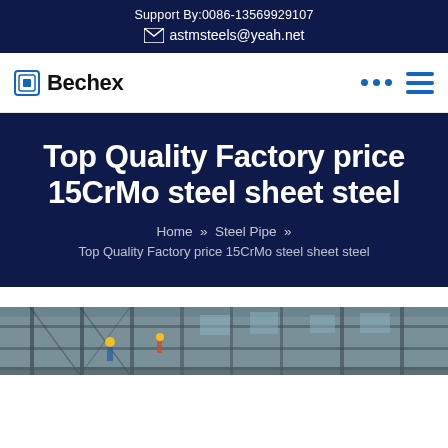Support By:0086-13569929107
astmsteels@yeah.net
Bechex
Top Quality Factory price 15CrMo steel sheet steel
Home » Steel Pipe » Top Quality Factory price 15CrMo steel sheet steel
[Figure (photo): Factory/warehouse interior showing metal scaffolding structure with workers in hard hats]